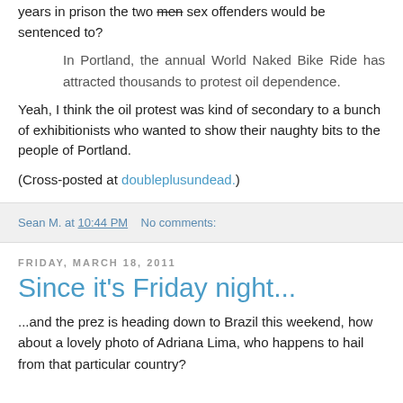years in prison the two men sex offenders would be sentenced to?
In Portland, the annual World Naked Bike Ride has attracted thousands to protest oil dependence.
Yeah, I think the oil protest was kind of secondary to a bunch of exhibitionists who wanted to show their naughty bits to the people of Portland.
(Cross-posted at doubleplusundead.)
Sean M. at 10:44 PM   No comments:
Friday, March 18, 2011
Since it's Friday night...
...and the prez is heading down to Brazil this weekend, how about a lovely photo of Adriana Lima, who happens to hail from that particular country?